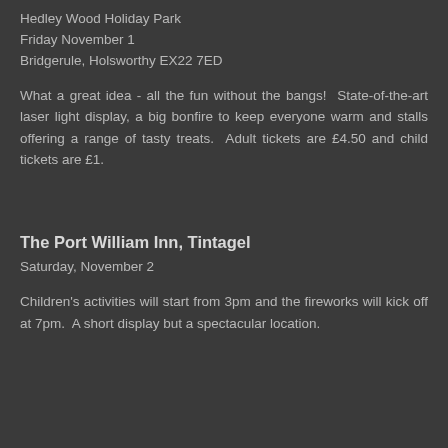Hedley Wood Holiday Park
Friday November 1
Bridgerule, Holsworthy EX22 7ED
What a great idea - all the fun without the bangs!  State-of-the-art laser light display, a big bonfire to keep everyone warm and stalls offering a range of tasty treats.  Adult tickets are £4.50 and child tickets are £1.
The Port William Inn, Tintagel
Saturday, November 2
Children's activities will start from 3pm and the fireworks will kick off at 7pm.  A short display but a spectacular location.